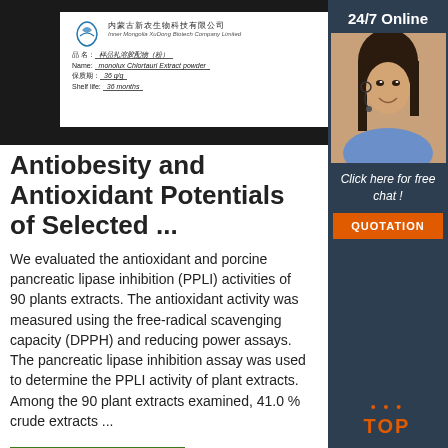[Figure (photo): Photo of a product label from Inner Mongolia XuDong Biotech Company Limited showing product name (Monolux Chlortauri Extract powder), date (36 g/g), shelf life (36 months), on a dark background]
Antiobesity and Antioxidant Potentials of Selected ...
We evaluated the antioxidant and porcine pancreatic lipase inhibition (PPLI) activities of 90 plants extracts. The antioxidant activity was measured using the free-radical scavenging capacity (DPPH) and reducing power assays. The pancreatic lipase inhibition assay was used to determine the PPLI activity of plant extracts. Among the 90 plant extracts examined, 41.0 % crude extracts ...
[Figure (photo): Sidebar showing 24/7 Online customer service representative (woman with headset), Click here for free chat text, QUOTATION orange button, and TOP navigation icon in orange]
Get Price